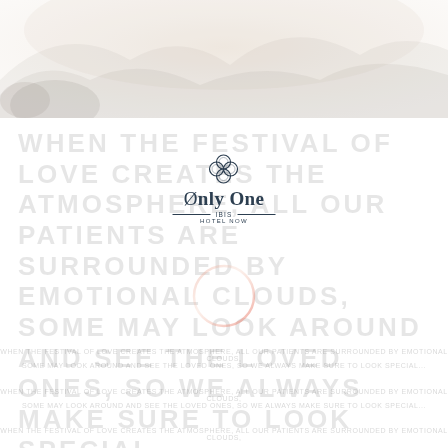[Figure (photo): Faded scenic/landscape photo forming the top banner of the page]
WHEN THE FESTIVAL OF LOVE CREATES THE ATMOSPHERE, ALL OUR PATIENTS ARE SURROUNDED BY EMOTIONAL CLOUDS, SOME MAY LOOK AROUND AND SEE THE LOVED ONES, SO WE ALWAYS MAKE SURE TO LOOK SPECIAL...
[Figure (logo): Only One Ibis Hotel Now logo with floral emblem and decorative lines]
[Figure (other): Decorative circle outline in salmon/peach gradient color]
Faded smaller text lines below the circle
Additional faded text rows near the bottom of the page